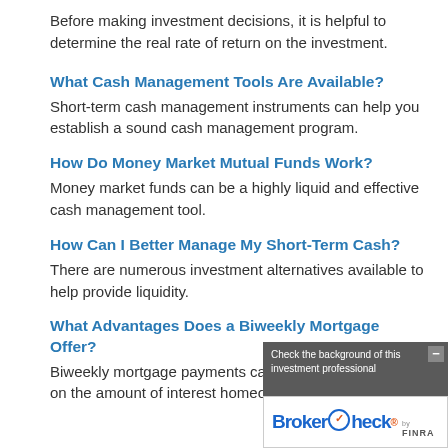Before making investment decisions, it is helpful to determine the real rate of return on the investment.
What Cash Management Tools Are Available?
Short-term cash management instruments can help you establish a sound cash management program.
How Do Money Market Mutual Funds Work?
Money market funds can be a highly liquid and effective cash management tool.
How Can I Better Manage My Short-Term Cash?
There are numerous investment alternatives available to help provide liquidity.
What Advantages Does a Biweekly Mortgage Offer?
Biweekly mortgage payments can have a dramatic effect on the amount of interest homeowners have to pay.
[Figure (other): BrokerCheck by FINRA overlay popup with text 'Check the background of this investment professional' and BrokerCheck logo]